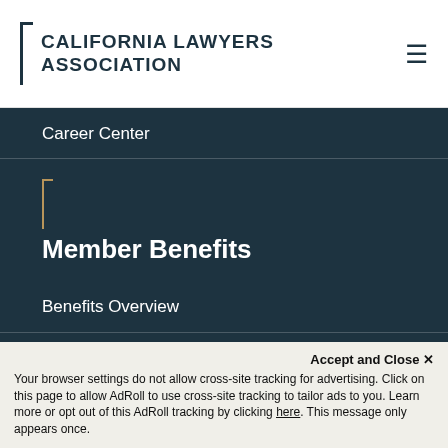CALIFORNIA LAWYERS ASSOCIATION
Career Center
Member Benefits
Benefits Overview
Fastcase
Education
Bill Tracking
Accept and Close ✕ Your browser settings do not allow cross-site tracking for advertising. Click on this page to allow AdRoll to use cross-site tracking to tailor ads to you. Learn more or opt out of this AdRoll tracking by clicking here. This message only appears once.